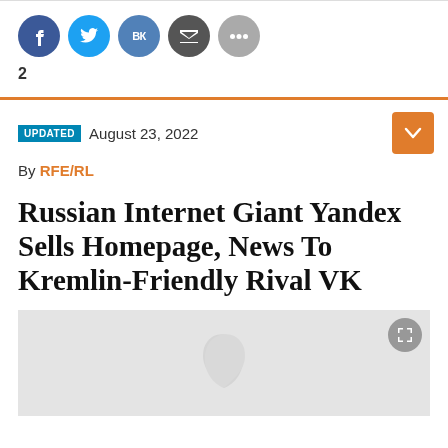[Figure (other): Social share buttons: Facebook (blue circle), Twitter (light blue circle), VKontakte (blue circle), Email (dark gray circle), More/ellipsis (gray circle)]
2
UPDATED August 23, 2022
By RFE/RL
Russian Internet Giant Yandex Sells Homepage, News To Kremlin-Friendly Rival VK
[Figure (photo): Light gray image area with a faint RFE/RL watermark logo (white leaf/flame shape) in the center]